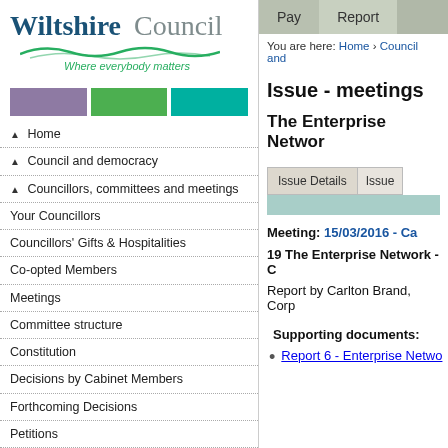[Figure (logo): Wiltshire Council logo with tagline 'Where everybody matters' and wave graphic]
[Figure (infographic): Three colored blocks: purple, green, teal navigation color bar]
▲ Home
▲ Council and democracy
▲ Councillors, committees and meetings
Your Councillors
Councillors' Gifts & Hospitalities
Co-opted Members
Meetings
Committee structure
Constitution
Decisions by Cabinet Members
Forthcoming Decisions
Petitions
Forward plans
Councillors' Briefing Notes
Town & Parish Council Information
Town & Parish Council Resources
Pay   Report
You are here: Home › Council and
Issue - meetings
The Enterprise Networ
Issue Details   Issue
Meeting: 15/03/2016 - Ca
19 The Enterprise Network - C
Report by Carlton Brand, Corp
Supporting documents:
Report 6 - Enterprise Netwo